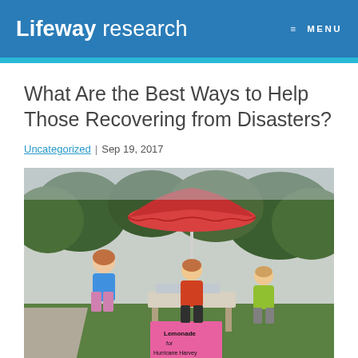Lifeway research  ≡ MENU
What Are the Best Ways to Help Those Recovering from Disasters?
Uncategorized | Sep 19, 2017
[Figure (photo): Three children standing at a lemonade stand under a red umbrella. A pink sign reads 'Lemonade for Hurricane Harvey Victims'. The children are outdoors on grass with trees in the background.]